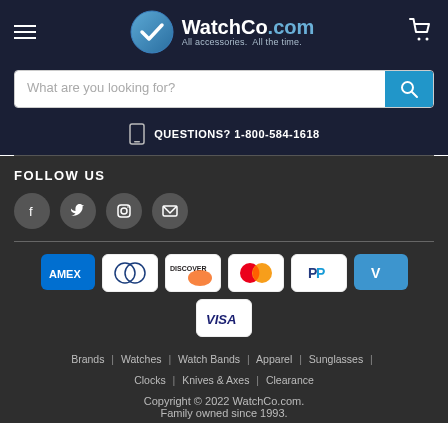WatchCo.com — All accessories. All the time.
What are you looking for?
QUESTIONS? 1-800-584-1618
FOLLOW US
[Figure (logo): Social media icons: Facebook, Twitter, Instagram, Email]
[Figure (logo): Payment method logos: AMEX, Diners Club, Discover, Mastercard, PayPal, Venmo, Visa]
Brands | Watches | Watch Bands | Apparel | Sunglasses | Clocks | Knives & Axes | Clearance
Copyright © 2022 WatchCo.com. Family owned since 1993.